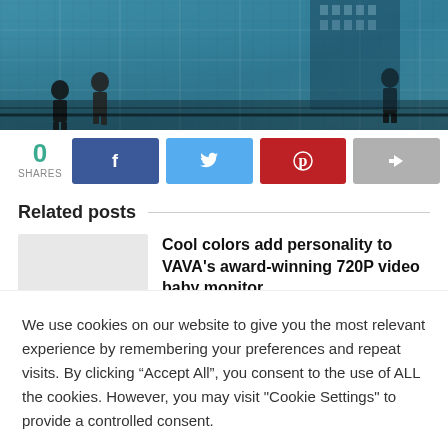[Figure (photo): Hero image showing silhouettes of people walking in a modern glass building interior with blue-toned lighting and city buildings visible in background]
0
SHARES
[Figure (infographic): Social sharing buttons: Facebook (dark blue), Twitter (light blue), Pinterest (red), Share (grey)]
Related posts
Cool colors add personality to VAVA's award-winning 720P video baby monitor
We use cookies on our website to give you the most relevant experience by remembering your preferences and repeat visits. By clicking “Accept All”, you consent to the use of ALL the cookies. However, you may visit "Cookie Settings" to provide a controlled consent.
Cookie Settings
Accept All